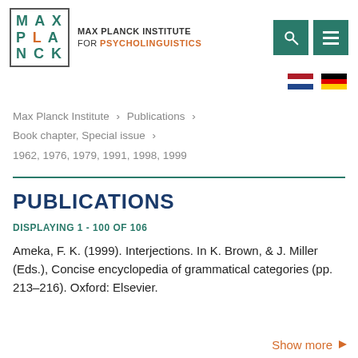[Figure (logo): Max Planck Institute for Psycholinguistics logo with teal letters M, P, L, A, N, C, K in a bordered box, and institute name text beside it with orange PSYCHOLINGUISTICS]
Max Planck Institute for Psycholinguistics
Max Planck Institute › Publications › Book chapter, Special issue › 1962, 1976, 1979, 1991, 1998, 1999
PUBLICATIONS
DISPLAYING 1 - 100 OF 106
Ameka, F. K. (1999). Interjections. In K. Brown, & J. Miller (Eds.), Concise encyclopedia of grammatical categories (pp. 213–216). Oxford: Elsevier.